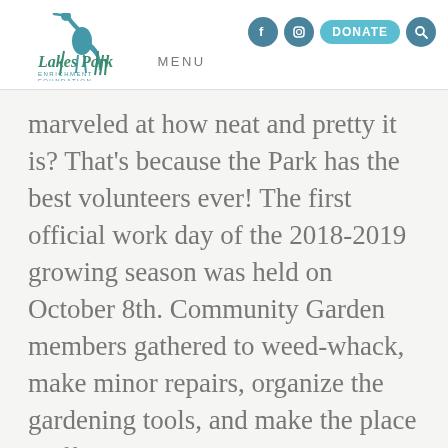[Figure (logo): Lakes Park Enrichment Foundation logo with heron bird and script text]
MENU
marveled at how neat and pretty it is? That’s because the Park has the best volunteers ever! The first official work day of the 2018-2019 growing season was held on October 8th. Community Garden members gathered to weed-whack, make minor repairs, organize the gardening tools, and make the place spiffy.